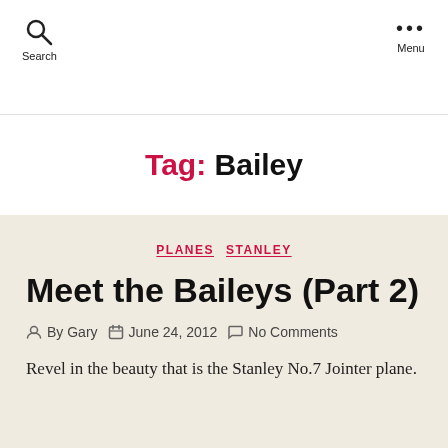Search   Menu
Tag: Bailey
PLANES   STANLEY
Meet the Baileys (Part 2)
By Gary   June 24, 2012   No Comments
Revel in the beauty that is the Stanley No.7 Jointer plane.